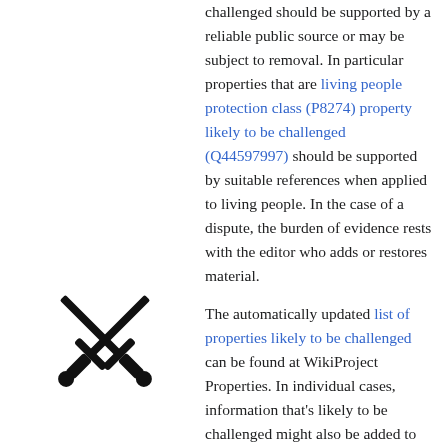challenged should be supported by a reliable public source or may be subject to removal. In particular properties that are living people protection class (P8274) property likely to be challenged (Q44597997) should be supported by suitable references when applied to living people. In the case of a dispute, the burden of evidence rests with the editor who adds or restores material.
[Figure (illustration): Two crossed swords icon in black outline style]
The automatically updated list of properties likely to be challenged can be found at WikiProject Properties. In individual cases, information that's likely to be challenged might also be added to other properties and users who add information to the items of living people